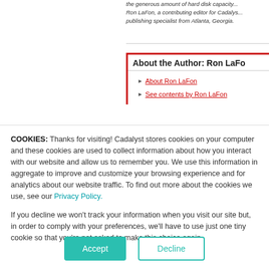the generous amount of hard disk capacity... Ron LaFon, a contributing editor for Cadalyst... publishing specialist from Atlanta, Georgia.
About the Author: Ron LaFon
About Ron LaFon
See contents by Ron LaFon
COOKIES: Thanks for visiting! Cadalyst stores cookies on your computer and these cookies are used to collect information about how you interact with our website and allow us to remember you. We use this information in aggregate to improve and customize your browsing experience and for analytics about our website traffic. To find out more about the cookies we use, see our Privacy Policy.
If you decline we won't track your information when you visit our site but, in order to comply with your preferences, we'll have to use just one tiny cookie so that you're not asked to make this choice again.